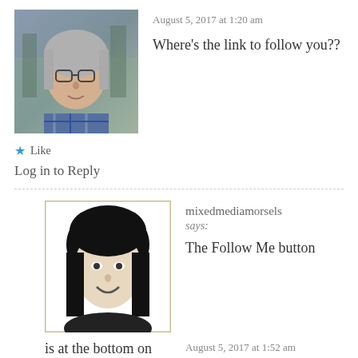[Figure (photo): Profile photo of a woman with glasses, older, wearing a plaid shirt, outdoor background]
August 5, 2017 at 1:20 am
Where's the link to follow you??
Like
Log in to Reply
[Figure (illustration): Black and white cartoon/sketch avatar of a woman with dark hair]
mixedmediamorsels says:
The Follow Me button is at the bottom on the right. 🙂
August 5, 2017 at 1:52 am
Like